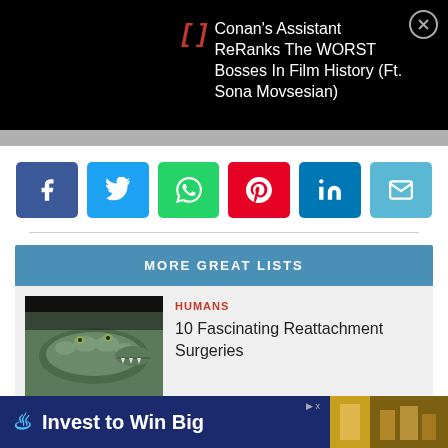[Figure (screenshot): Black video banner showing bracket icon and video title text in white]
Conan's Assistant ReRanks The WORST Bosses In Film History (Ft. Sona Movsesian)
[Figure (infographic): Row of social share buttons: Facebook, Twitter, WhatsApp, Pinterest, LinkedIn, Email]
MORE GREAT LISTS
[Figure (photo): Thumbnail image of a crocodile]
HUMANS
10 Fascinating Reattachment Surgeries
[Figure (infographic): Advertisement banner: Invest to Win Big with financial imagery]